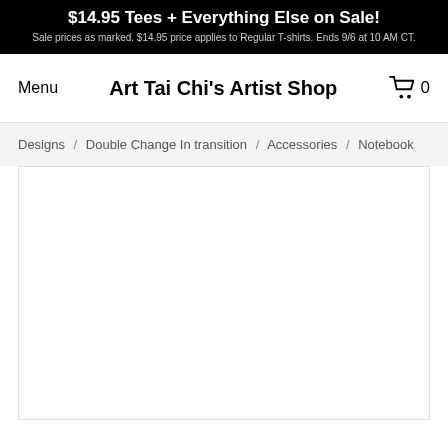$14.95 Tees + Everything Else on Sale! Sale prices as marked. $14.95 price applies to Regular T-shirts. Ends 9/6 at 10 AM CT.
Menu
Art Tai Chi's Artist Shop
0
Designs / Double Change In transition / Accessories / Notebook
[Figure (other): Product image area - white notebook product display, mostly blank white space]